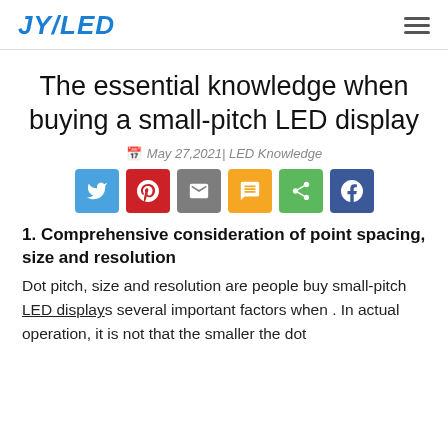JYLED
The essential knowledge when buying a small-pitch LED display
May 27,2021| LED Knowledge
[Figure (other): Social share buttons: Twitter, Pinterest, Email, SMS, Share, Facebook]
1. Comprehensive consideration of point spacing, size and resolution
Dot pitch, size and resolution are people buy small-pitch LED displays several important factors when . In actual operation, it is not that the smaller the dot